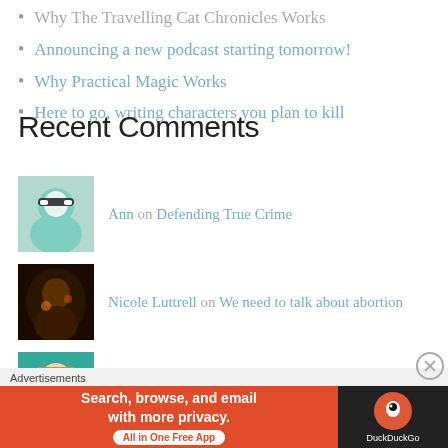Why The Travelling Cat Chronicles Works
Announcing a new podcast starting tomorrow!
Why Practical Magic Works
Here to go, writing characters you plan to kill
Recent Comments
Ann on Defending True Crime
Nicole Luttrell on We need to talk about abortion
annecreates on We need to talk about abortion
James Osborne on We need to talk about abortion
Advertisements
[Figure (other): DuckDuckGo advertisement banner: Search, browse, and email with more privacy. All in One Free App]